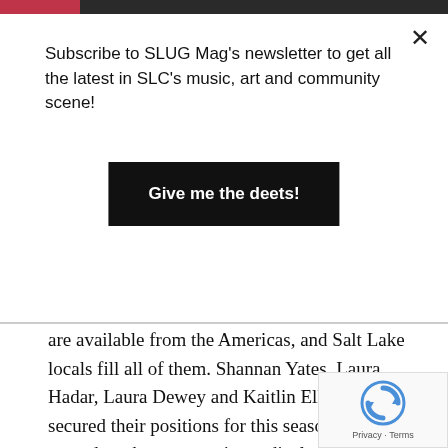Subscribe to SLUG Mag's newsletter to get all the latest in SLC's music, art and community scene!
Give me the deets!
are available from the Americas, and Salt Lake locals fill all of them. Shannan Yates, Laura Hadar, Laura Dewey and Kaitlin Elliott have secured their positions for this season and are amped on the opportunity to display their skills on a world stage.

The Wasatch Mountains, and specifically Snowbird, have provided the perfect training ground for these ladies to perfect their craft. The blend of extreme terrain and ample snowfall is ideal for developing confidenc and sound fundamentals. “I spent a lot of